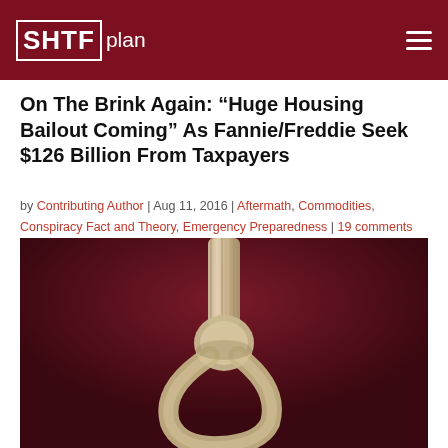SHTFplan
On The Brink Again: “Huge Housing Bailout Coming” As Fannie/Freddie Seek $126 Billion From Taxpayers
by Contributing Author | Aug 11, 2016 | Aftermath, Commodities, Conspiracy Fact and Theory, Emergency Preparedness | 19 comments
[Figure (photo): Close-up photograph of a rope tied in a hangman's noose knot against a dark red/maroon background]